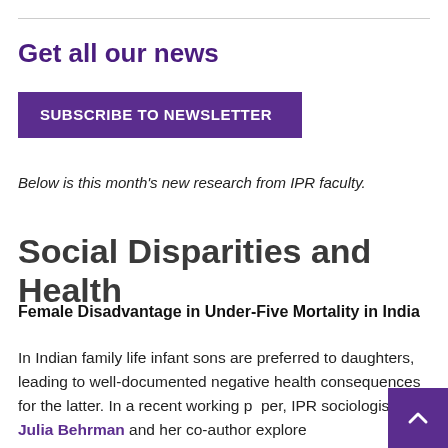Get all our news
[Figure (other): Purple 'SUBSCRIBE TO NEWSLETTER' button]
Below is this month's new research from IPR faculty.
Social Disparities and Health
Female Disadvantage in Under-Five Mortality in India
In Indian family life infant sons are preferred to daughters, leading to well-documented negative health consequences for the latter. In a recent working paper, IPR sociologist Julia Behrman and her co-author explore